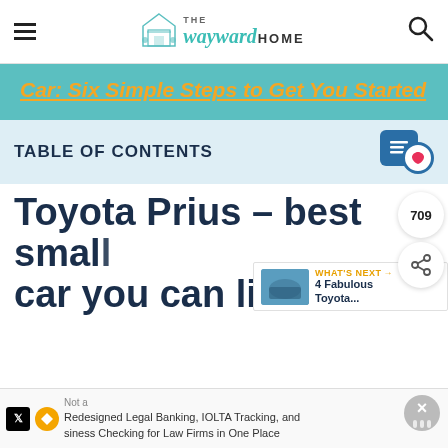The Wayward Home
Car: Six Simple Steps to Get You Started
TABLE OF CONTENTS
Toyota Prius – best small car you can live in
709
WHAT'S NEXT → 4 Fabulous Toyota...
Not a
Redesigned Legal Banking, IOLTA Tracking, and Business Checking for Law Firms in One Place